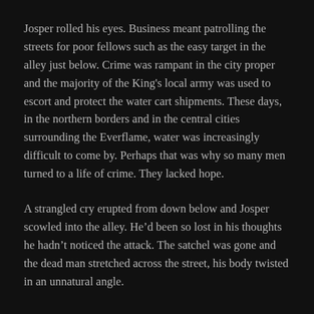Josper rolled his eyes. Business meant patrolling the streets for poor fellows such as the easy target in the alley just below. Crime was rampant in the city proper and the majority of the King's local army was used to escort and protect the water cart shipments. These days, in the northern borders and in the central cities surrounding the Everflame, water was increasingly difficult to come by. Perhaps that was why so many men turned to a life of crime. They lacked hope.
A strangled cry erupted from down below and Josper scowled into the alley. He'd been so lost in his thoughts he hadn't noticed the attack. The satchel was gone and the dead man stretched across the street, his body twisted in an unnatural angle.